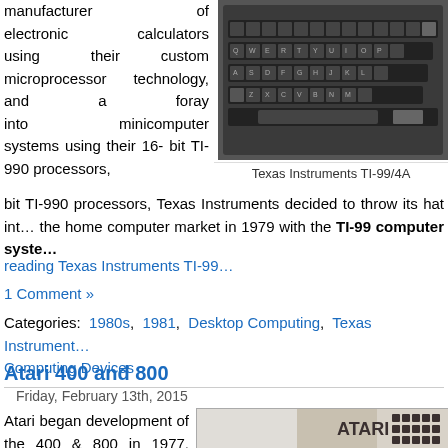manufacturer of electronic calculators using their custom microprocessor technology, and a foray into minicomputer systems using their 16-bit TI-990 processors, Texas Instruments decided to throw its hat into the home computer market in 1979 with the TI-99 computer syste…
[Figure (photo): Texas Instruments TI-99/4A computer keyboard, top-down view]
Texas Instruments TI-99/4A
reading Texas Instruments TI-99…
1 Comment »
Categories: 1980s, 1981, Desktop Computing, Texas Instruments, Computing Devices
Atari 400 and 800
Friday, February 13th, 2015
Atari began development of the 400 & 800 in 1977, using the code names Candy (400) and Colleen (800). Rumor has it
[Figure (photo): Atari 800 computer, beige/cream colored with dark keyboard keys visible]